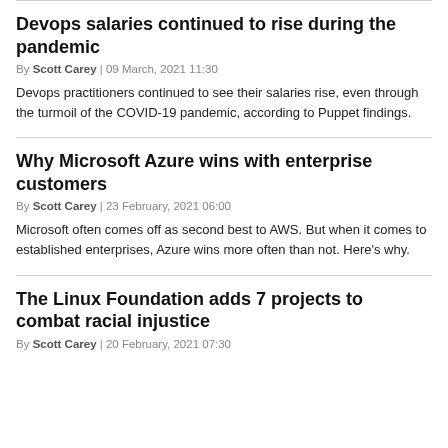Devops salaries continued to rise during the pandemic
By Scott Carey | 09 March, 2021 11:30
Devops practitioners continued to see their salaries rise, even through the turmoil of the COVID-19 pandemic, according to Puppet findings.
Why Microsoft Azure wins with enterprise customers
By Scott Carey | 23 February, 2021 06:00
Microsoft often comes off as second best to AWS. But when it comes to established enterprises, Azure wins more often than not. Here's why.
The Linux Foundation adds 7 projects to combat racial injustice
By Scott Carey | 20 February, 2021 07:30